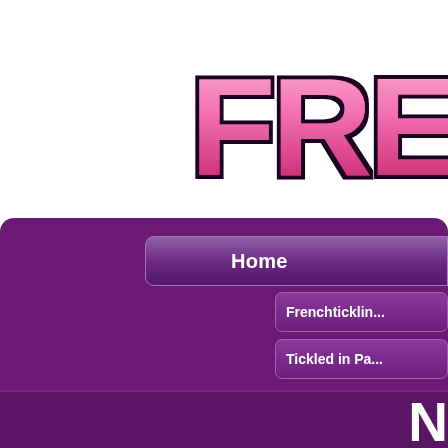[Figure (logo): Partial logo text 'FRENC' in large pink/magenta bubbly font with dark outline, top-right area]
Home
Frenchticklin...
Tickled in Pa...
N